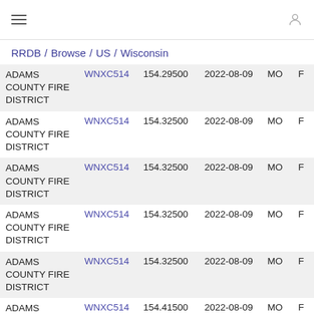≡  [user icon]
RRDB / Browse / US / Wisconsin
| Name | Callsign | Frequency | Date | MO |  |
| --- | --- | --- | --- | --- | --- |
| ADAMS COUNTY FIRE DISTRICT | WNXC514 | 154.29500 | 2022-08-09 | MO | F |
| ADAMS COUNTY FIRE DISTRICT | WNXC514 | 154.32500 | 2022-08-09 | MO | F |
| ADAMS COUNTY FIRE DISTRICT | WNXC514 | 154.32500 | 2022-08-09 | MO | F |
| ADAMS COUNTY FIRE DISTRICT | WNXC514 | 154.32500 | 2022-08-09 | MO | F |
| ADAMS COUNTY FIRE DISTRICT | WNXC514 | 154.32500 | 2022-08-09 | MO | F |
| ADAMS | WNXC514 | 154.41500 | 2022-08-09 | MO | F |